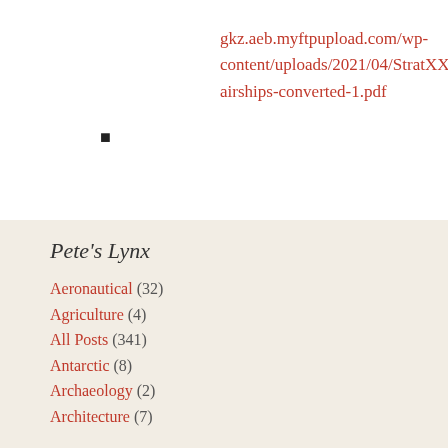gkz.aeb.myftpupload.com/wp-content/uploads/2021/04/StratXX-airships-converted-1.pdf
■
Pete's Lynx
Aeronautical (32)
Agriculture (4)
All Posts (341)
Antarctic (8)
Archaeology (2)
Architecture (7)